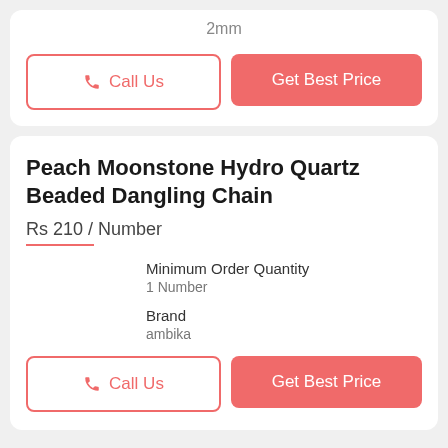2mm
Call Us
Get Best Price
Peach Moonstone Hydro Quartz Beaded Dangling Chain
Rs 210 / Number
Minimum Order Quantity
1 Number
Brand
ambika
Call Us
Get Best Price